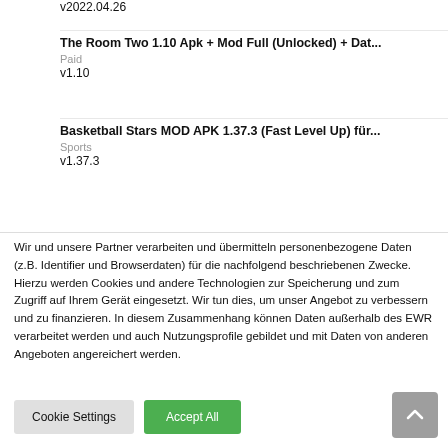v2022.04.20
The Room Two 1.10 Apk + Mod Full (Unlocked) + Dat...
Paid
v1.10
Basketball Stars MOD APK 1.37.3 (Fast Level Up) für...
Sports
v1.37.3
Wir und unsere Partner verarbeiten und übermitteln personenbezogene Daten (z.B. Identifier und Browserdaten) für die nachfolgend beschriebenen Zwecke. Hierzu werden Cookies und andere Technologien zur Speicherung und zum Zugriff auf Ihrem Gerät eingesetzt. Wir tun dies, um unser Angebot zu verbessern und zu finanzieren. In diesem Zusammenhang können Daten außerhalb des EWR verarbeitet werden und auch Nutzungsprofile gebildet und mit Daten von anderen Angeboten angereichert werden.
Cookie Settings
Accept All